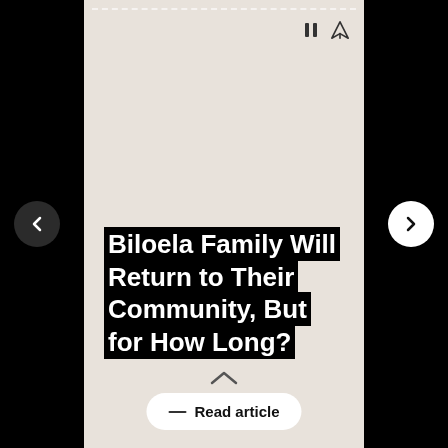Biloela Family Will Return to Their Community, But for How Long?
Read article